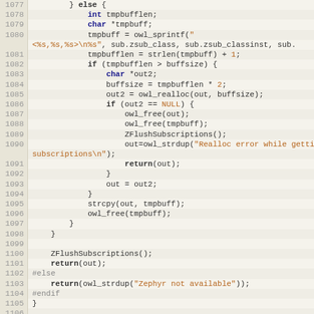[Figure (screenshot): Source code listing showing C code lines 1077-1107, with syntax highlighting. Line numbers in left column with beige background, code in monospace font with keywords in bold dark blue, strings in brown/orange, NULL keyword in orange, preprocessor directives in gray.]